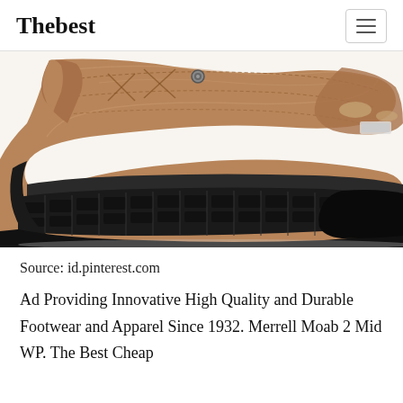Thebest
[Figure (photo): Close-up photo of a brown leather hiking boot showing the upper, stitching, lace hardware, and a thick black rubber lug sole. The image is cropped to show mainly the lower portion of the boot.]
Source: id.pinterest.com
Ad Providing Innovative High Quality and Durable Footwear and Apparel Since 1932. Merrell Moab 2 Mid WP. The Best Cheap